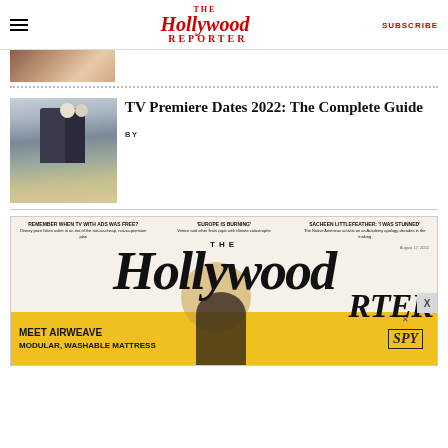The Hollywood Reporter — SUBSCRIBE
[Figure (photo): Partial thumbnail image, top portion visible, brownish/skin tones]
TV Premiere Dates 2022: The Complete Guide
BY
[Figure (photo): Two people standing on a beach, one with white hair in dark outfit — House of the Dragon style]
[Figure (photo): The Hollywood Reporter magazine cover featuring masthead, cover lines about TV ads, Europe Is Burning, Sacheen Littlefeather]
[Figure (advertisement): Meet Airweave — Modular, Washable Mattress advertisement banner in yellow with SPY logo]